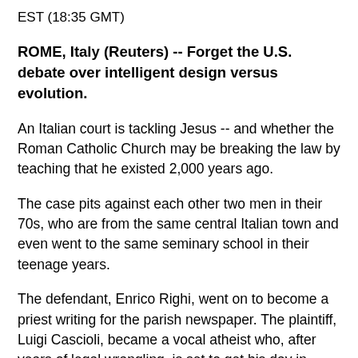EST (18:35 GMT)
ROME, Italy (Reuters) -- Forget the U.S. debate over intelligent design versus evolution.
An Italian court is tackling Jesus -- and whether the Roman Catholic Church may be breaking the law by teaching that he existed 2,000 years ago.
The case pits against each other two men in their 70s, who are from the same central Italian town and even went to the same seminary school in their teenage years.
The defendant, Enrico Righi, went on to become a priest writing for the parish newspaper. The plaintiff, Luigi Cascioli, became a vocal atheist who, after years of legal wrangling, is set to get his day in court later this month.
"I started this lawsuit because I wanted to deal